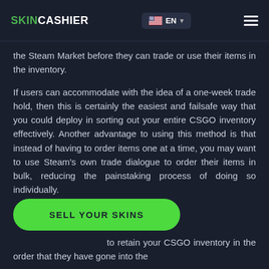SKINCASHIER EN
the Steam Market before they can trade or use their items in the inventory.
If users can accommodate with the idea of a one-week trade hold, then this is certainly the easiest and failsafe way that you could deploy in sorting out your entire CSGO inventory effectively. Another advantage to using this method is that instead of having to order items one at a time, you may want to use Steam's own trade dialogue to order their items in bulk, reducing the painstaking process of doing so individually.
SELL YOUR SKINS
to retain your CSGO inventory in the order that they have gone into the